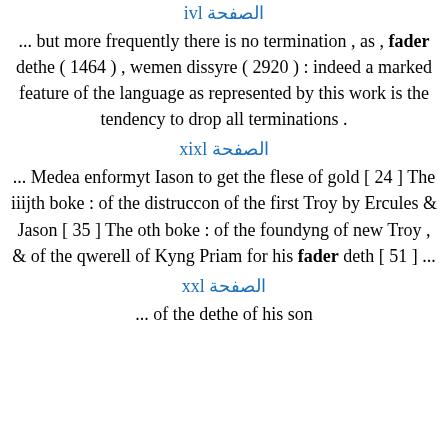الصفحة lvi
... but more frequently there is no termination , as , fader dethe ( 1464 ) , wemen dissyre ( 2920 ) : indeed a marked feature of the language as represented by this work is the tendency to drop all terminations .
الصفحة lxix
... Medea enformyt Iason to get the flese of gold [ 24 ] The iiijth boke : of the distruccon of the first Troy by Ercules & Jason [ 35 ] The oth boke : of the foundyng of new Troy , & of the qwerell of Kyng Priam for his fader deth [ 51 ] ...
الصفحة lxx
... of the dethe of his son